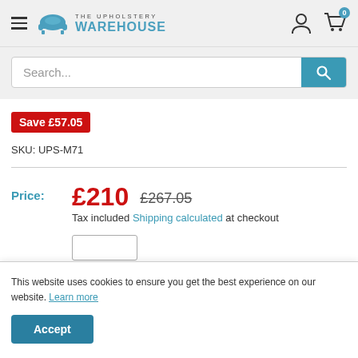THE UPHOLSTERY WAREHOUSE
Search...
Save £57.05
SKU: UPS-M71
Price: £210  £267.05
Tax included Shipping calculated at checkout
This website uses cookies to ensure you get the best experience on our website. Learn more
Accept